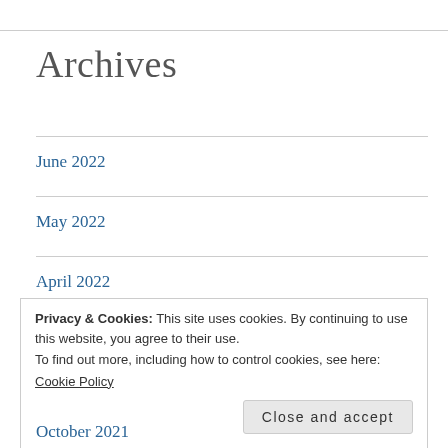Archives
June 2022
May 2022
April 2022
February 2022
Privacy & Cookies: This site uses cookies. By continuing to use this website, you agree to their use.
To find out more, including how to control cookies, see here:
Cookie Policy
Close and accept
October 2021